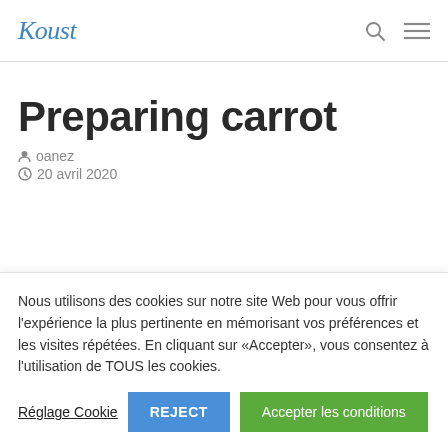Koust
Preparing carrot
oanez
20 avril 2020
Nous utilisons des cookies sur notre site Web pour vous offrir l'expérience la plus pertinente en mémorisant vos préférences et les visites répétées. En cliquant sur «Accepter», vous consentez à l'utilisation de TOUS les cookies.
Réglage Cookie | REJECT | Accepter les conditions